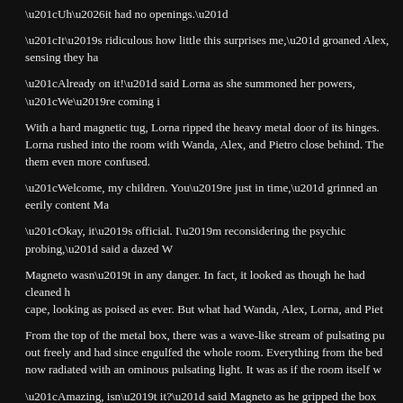“Uh…it had no openings.”
“It’s ridiculous how little this surprises me,” groaned Alex, sensing they ha…
“Already on it!” said Lorna as she summoned her powers, “We’re coming i…
With a hard magnetic tug, Lorna ripped the heavy metal door of its hinges. Lorna rushed into the room with Wanda, Alex, and Pietro close behind. The… them even more confused.
“Welcome, my children. You’re just in time,” grinned an eerily content Ma…
“Okay, it’s official. I’m reconsidering the psychic probing,” said a dazed W…
Magneto wasn’t in any danger. In fact, it looked as though he had cleaned h… cape, looking as poised as ever. But what had Wanda, Alex, Lorna, and Piet…
From the top of the metal box, there was a wave-like stream of pulsating pu… out freely and had since engulfed the whole room. Everything from the bed… now radiated with an ominous pulsating light. It was as if the room itself w…
“Amazing, isn’t it?” said Magneto as he gripped the box intently, “Warlock…
“Not this again!” groaned Alex as he looked around at the strange metal, “D…
“Oh I learned plenty. I learned just how feeble our lives have become in thi… worse, “You see, when I lost the Cambrian, I lost the insight that led me to… and blood, I have struggled to wrap my head around that insight…until now…
“Father…let’s not do this again!” cried Lorna, “You’re sick! You need a…